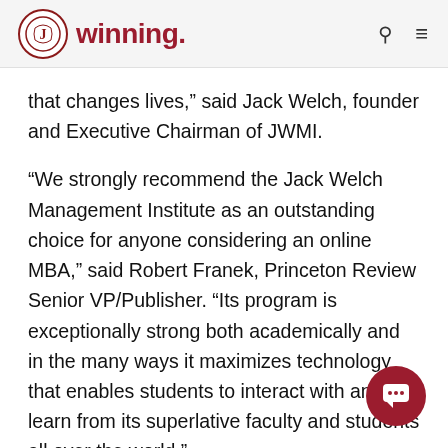winning.
that changes lives,” said Jack Welch, founder and Executive Chairman of JWMI.
“We strongly recommend the Jack Welch Management Institute as an outstanding choice for anyone considering an online MBA,” said Robert Franek, Princeton Review Senior VP/Publisher. “Its program is exceptionally strong both academically and in the many ways it maximizes technology that enables students to interact with and learn from its superlative faculty and students all over the world.”